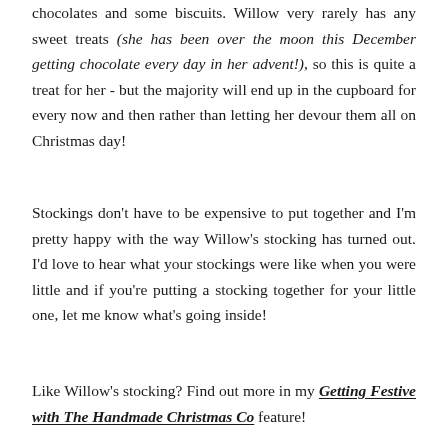...and the rest: some sweets, a chocolate bar, some chocolates and some biscuits. Willow very rarely has any sweet treats (she has been over the moon this December getting chocolate every day in her advent!), so this is quite a treat for her - but the majority will end up in the cupboard for every now and then rather than letting her devour them all on Christmas day!
Stockings don't have to be expensive to put together and I'm pretty happy with the way Willow's stocking has turned out. I'd love to hear what your stockings were like when you were little and if you're putting a stocking together for your little one, let me know what's going inside!
Like Willow's stocking? Find out more in my Getting Festive with The Handmade Christmas Co feature!